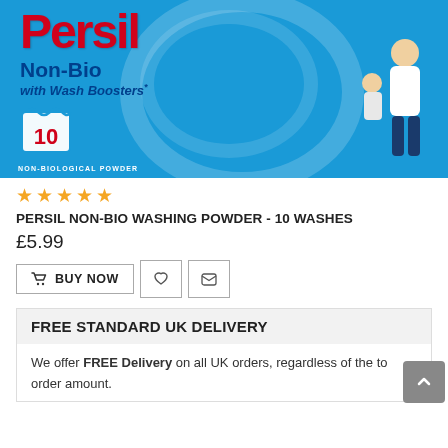[Figure (photo): Persil Non-Bio with Wash Boosters washing powder box, 10 washes, non-biological powder, blue box with product branding, man and baby/toddler on right side]
★★★★★
PERSIL NON-BIO WASHING POWDER - 10 WASHES
£5.99
BUY NOW
FREE STANDARD UK DELIVERY
We offer FREE Delivery on all UK orders, regardless of the total order amount.